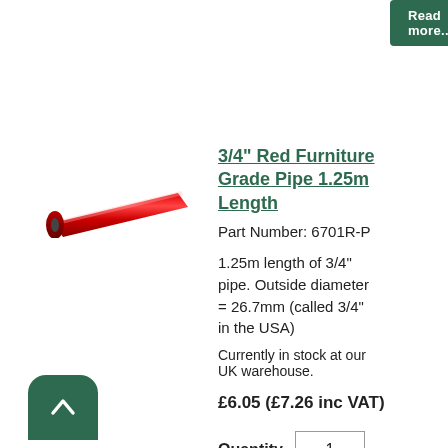Read more...
[Figure (photo): A red furniture grade pipe shown diagonally, cylindrical shape with visible hollow end]
3/4" Red Furniture Grade Pipe 1.25m Length
Part Number: 6701R-P
1.25m length of 3/4" pipe. Outside diameter = 26.7mm (called 3/4" in the USA)
Currently in stock at our UK warehouse.
£6.05 (£7.26 inc VAT)
Quantity  1